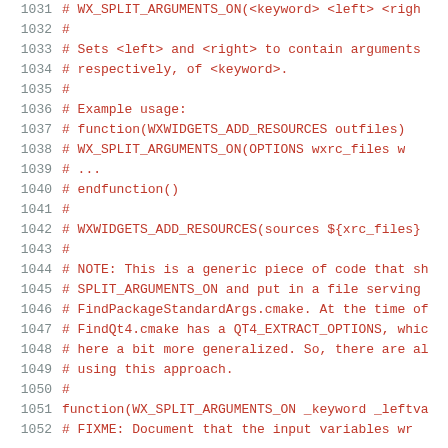Code listing lines 1031-1052: CMake WX_SPLIT_ARGUMENTS_ON macro documentation and function definition